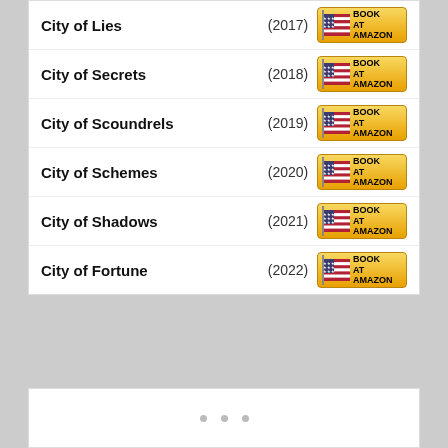City of Lies (2017) BOOK AT AMAZON
City of Secrets (2018) BOOK AT AMAZON
City of Scoundrels (2019) BOOK AT AMAZON
City of Schemes (2020) BOOK AT AMAZON
City of Shadows (2021) BOOK AT AMAZON
City of Fortune (2022) BOOK AT AMAZON
[Figure (other): White content panel with loading dots (three gray dots) and reCAPTCHA widget in bottom right corner showing Privacy and Terms links]